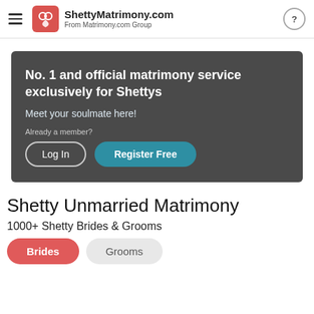ShettyMatrimony.com From Matrimony.com Group
[Figure (screenshot): Dark grey hero banner with text: No. 1 and official matrimony service exclusively for Shettys. Meet your soulmate here! Already a member? Log In | Register Free buttons.]
Shetty Unmarried Matrimony
1000+ Shetty Brides & Grooms
Brides  Grooms